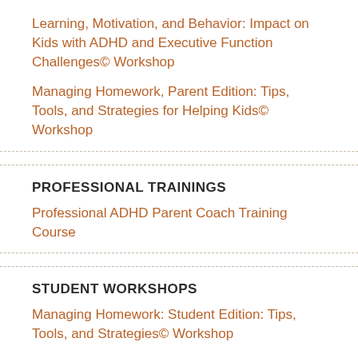Learning, Motivation, and Behavior: Impact on Kids with ADHD and Executive Function Challenges© Workshop
Managing Homework, Parent Edition: Tips, Tools, and Strategies for Helping Kids© Workshop
PROFESSIONAL TRAININGS
Professional ADHD Parent Coach Training Course
STUDENT WORKSHOPS
Managing Homework: Student Edition: Tips, Tools, and Strategies© Workshop